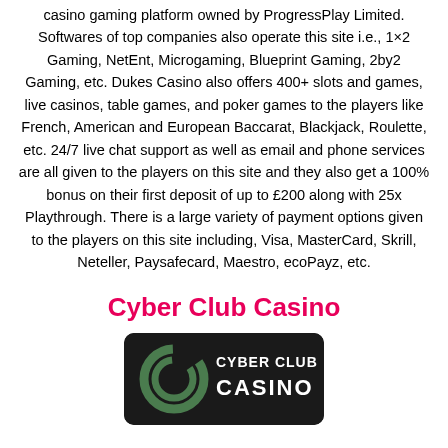casino gaming platform owned by ProgressPlay Limited. Softwares of top companies also operate this site i.e., 1×2 Gaming, NetEnt, Microgaming, Blueprint Gaming, 2by2 Gaming, etc. Dukes Casino also offers 400+ slots and games, live casinos, table games, and poker games to the players like French, American and European Baccarat, Blackjack, Roulette, etc. 24/7 live chat support as well as email and phone services are all given to the players on this site and they also get a 100% bonus on their first deposit of up to £200 along with 25x Playthrough. There is a large variety of payment options given to the players on this site including, Visa, MasterCard, Skrill, Neteller, Paysafecard, Maestro, ecoPayz, etc.
Cyber Club Casino
[Figure (logo): Cyber Club Casino logo: dark rounded rectangle background with a stylized 'C' icon on the left and 'CYBER CLUB CASINO' text in white/green on the right.]